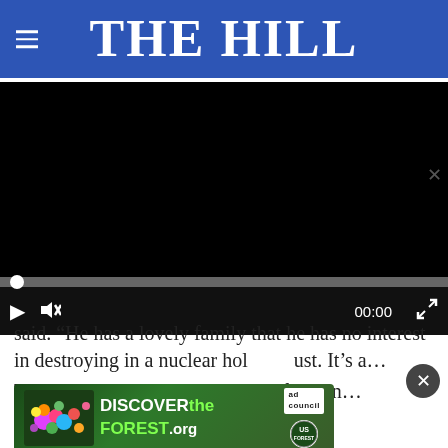THE HILL
[Figure (screenshot): Embedded video player with black screen, progress bar at start, play button, mute button, timestamp 00:00, and fullscreen button]
said. “He has a lovely family that he has no interest in destroying in a nuclear hol…ust. It’s a…
[Figure (infographic): DiscovertheForest.org ad banner with forest background, colorful flowers, Ad Council and US Forest Service logos]
The Hill spoke to more than a half dozen…